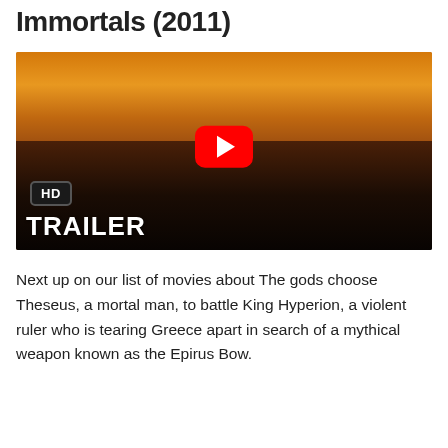Immortals (2011)
[Figure (screenshot): YouTube video thumbnail for the Immortals (2011) HD Trailer, showing a warrior in a dark ornate mask against a golden sky, with the YouTube play button in the center, an HD badge in the lower left, and 'TRAILER' text below.]
Next up on our list of movies about The gods choose Theseus, a mortal man, to battle King Hyperion, a violent ruler who is tearing Greece apart in search of a mythical weapon known as the Epirus Bow.